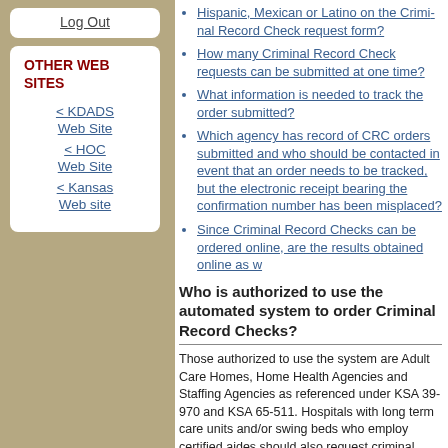Log Out
OTHER WEB SITES
< KDADS Web Site
< HOC Web Site
< Kansas Web site
Hispanic, Mexican or Latino on the Criminal Record Check request form?
How many Criminal Record Check requests can be submitted at one time?
What information is needed to track the order submitted?
Which agency has record of CRC orders submitted and who should be contacted in event that an order needs to be tracked, but the electronic receipt bearing the confirmation number has been misplaced?
Since Criminal Record Checks can be ordered online, are the results obtained online as well?
Who is authorized to use the automated system to order Criminal Record Checks?
Those authorized to use the system are Adult Care Homes, Home Health Agencies and Staffing Agencies as referenced under KSA 39-970 and KSA 65-5117. Hospitals with long term care units and/or swing beds who employ certified aides should also request criminal record checks.
< back to the top